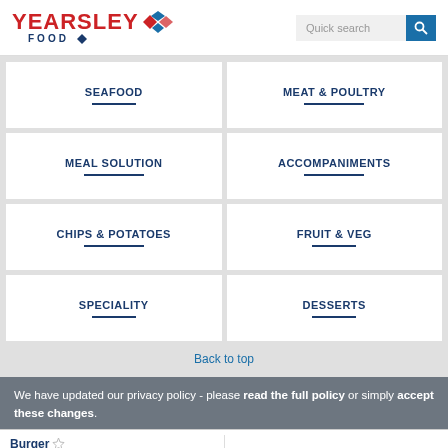[Figure (logo): Yearsley Food logo with red YEARSLEY text, blue FOOD text, and diamond graphic]
[Figure (screenshot): Quick search input bar with blue search button]
SEAFOOD
MEAT & POULTRY
MEAL SOLUTION
ACCOMPANIMENTS
CHIPS & POTATOES
FRUIT & VEG
SPECIALITY
DESSERTS
Back to top
We have updated our privacy policy - please read the full policy or simply accept these changes.
Burger
80% Deluxe Irish Beef
80% Beef Burger